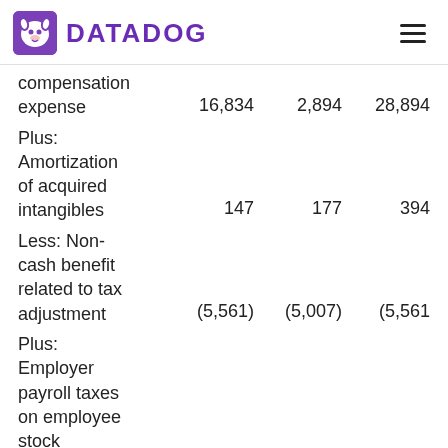DATADOG
|  |  |  |  |
| --- | --- | --- | --- |
| compensation expense | 16,834 | 2,894 | 28,894 |
| Plus: Amortization of acquired intangibles | 147 | 177 | 394 |
| Less: Non-cash benefit related to tax adjustment | (5,561) | (5,007) | (5,561 |
| Plus: Employer payroll taxes on employee stock |  |  |  |